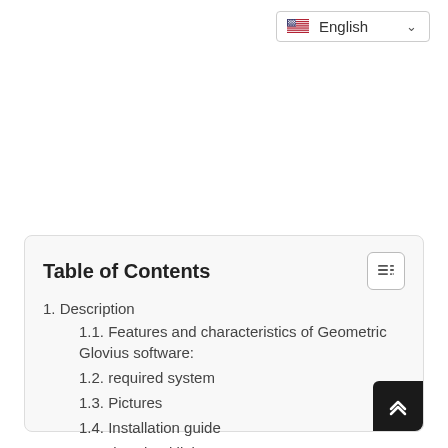English
Table of Contents
1. Description
1.1. Features and characteristics of Geometric Glovius software:
1.2. required system
1.3. Pictures
1.4. Installation guide
1.5. download link